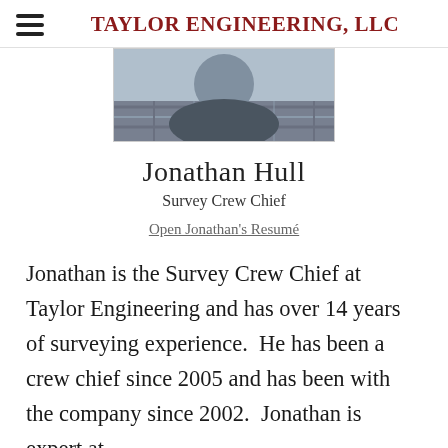TAYLOR ENGINEERING, LLC
[Figure (photo): Profile photo of Jonathan Hull wearing a plaid shirt]
Jonathan Hull
Survey Crew Chief
Open Jonathan's Resumé
Jonathan is the Survey Crew Chief at Taylor Engineering and has over 14 years of surveying experience.  He has been a crew chief since 2005 and has been with the company since 2002.  Jonathan is expert at